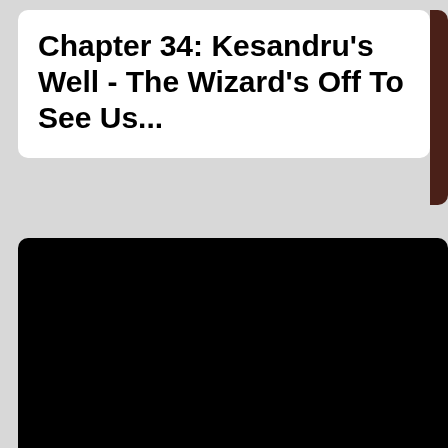Chapter 34: Kesandru's Well - The Wizard's Off To See Us...
[Figure (other): Black rectangular area, likely a video player or image placeholder]